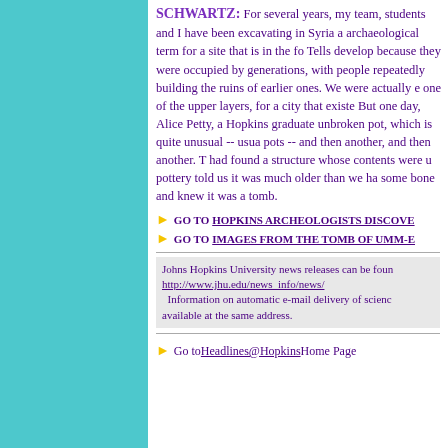SCHWARTZ: For several years, my team, students and I have been excavating in Syria a tell -- an archaeological term for a site that is in the form of a mound. Tells develop because they were occupied by people over many generations, with people repeatedly building new structures on the ruins of earlier ones. We were actually excavating in one of the upper layers, for a city that existed about 2000 BC. But one day, Alice Petty, a Hopkins graduate student, found an unbroken pot, which is quite unusual -- usually we find sherds of pots -- and then another, and then another. Then we realized we had found a structure whose contents were untouched. And the pottery told us it was much older than we had thought. We found some bone and knew it was a tomb.
GO TO HOPKINS ARCHEOLOGISTS DISCOVE...
GO TO IMAGES FROM THE TOMB OF UMM-E...
Johns Hopkins University news releases can be found at http://www.jhu.edu/news_info/news/ Information on automatic e-mail delivery of science news releases is available at the same address.
Go to Headlines@Hopkins Home Page